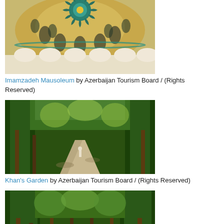[Figure (photo): Interior view of Imamzadeh Mausoleum dome with ornate teal and gold tile patterns]
Imamzadeh Mausoleum by Azerbaijan Tourism Board / (Rights Reserved)
[Figure (photo): Khan's Garden showing a tree-lined garden path with lush green trees]
Khan's Garden by Azerbaijan Tourism Board / (Rights Reserved)
[Figure (photo): Khan's Garden showing a wide garden path with tall trees and benches]
Khan's Garden by Azerbaijan Tourism Board / (Rights Reserved)